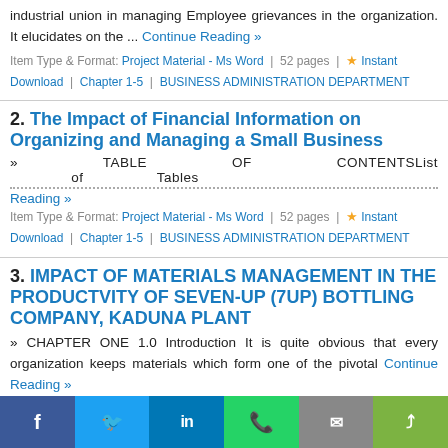industrial union in managing Employee grievances in the organization. It elucidates on the ... Continue Reading »
Item Type & Format: Project Material - Ms Word | 52 pages | ★ Instant Download | Chapter 1-5 | BUSINESS ADMINISTRATION DEPARTMENT
2. The Impact of Financial Information on Organizing and Managing a Small Business
» TABLE OF CONTENTSList of Tables
Continue Reading »
Item Type & Format: Project Material - Ms Word | 52 pages | ★ Instant Download | Chapter 1-5 | BUSINESS ADMINISTRATION DEPARTMENT
3. IMPACT OF MATERIALS MANAGEMENT IN THE PRODUCTVITY OF SEVEN-UP (7UP) BOTTLING COMPANY, KADUNA PLANT
» CHAPTER ONE 1.0 Introduction It is quite obvious that every organization keeps materials which form one of the pivotal elements in the organization. Continue Reading »